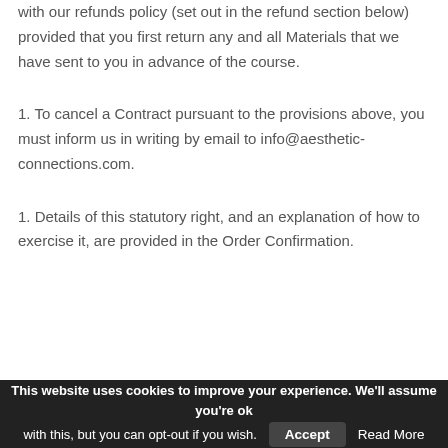with our refunds policy (set out in the refund section below) provided that you first return any and all Materials that we have sent to you in advance of the course.
1. To cancel a Contract pursuant to the provisions above, you must inform us in writing by email to info@aesthetic-connections.com.
1. Details of this statutory right, and an explanation of how to exercise it, are provided in the Order Confirmation.
This website uses cookies to improve your experience. We'll assume you're ok with this, but you can opt-out if you wish. Accept Read More